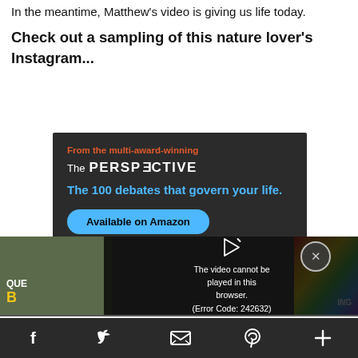In the meantime, Matthew's video is giving us life today.
Check out a sampling of this nature lover's Instagram...
[Figure (screenshot): Advertisement banner on dark background: 'From the multi-award-winning' in red, 'The PERSPECTIVE' logo in white, 'The 100 debates that govern your life.' in blue, 'Available on Amazon' button]
[Figure (screenshot): Video player overlay showing error message: 'The video cannot be played in this browser. (Error Code: 242632)' with play icon and close button, on dark background with partial content visible]
Social share bar with Facebook, Twitter, Email, Pinterest, and plus icons